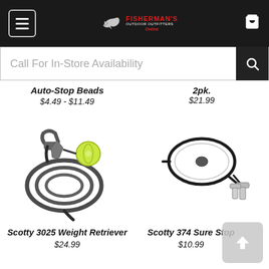Fisherman's Outdoor Outfitters Online - Navigation Header
Call For In-Store Availability
Auto-Stop Beads
$4.49 - $11.49
2pk.
$21.99
[Figure (photo): Scotty 3025 Weight Retriever product - black rope coiled with a carabiner clip and a yellow-green bead stop]
[Figure (photo): Scotty 374 Sure Stop product - black coated wire cable loop with snap swivel clips]
Scotty 3025 Weight Retriever
$24.99
Scotty 374 Sure Stop
$10.99